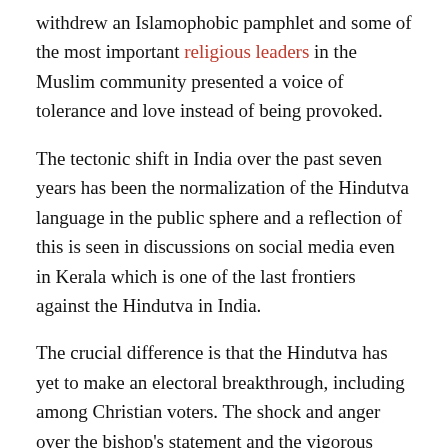withdrew an Islamophobic pamphlet and some of the most important religious leaders in the Muslim community presented a voice of tolerance and love instead of being provoked.
The tectonic shift in India over the past seven years has been the normalization of the Hindutva language in the public sphere and a reflection of this is seen in discussions on social media even in Kerala which is one of the last frontiers against the Hindutva in India.
The crucial difference is that the Hindutva has yet to make an electoral breakthrough, including among Christian voters. The shock and anger over the bishop's statement and the vigorous response from civil society could still outweigh Kerala's exceptionalism in religious friendship and coexistence.
Nissim Mannathukkaren is at Dalhousie University, Canada and is the author of the recent book Communism, subaltern studies, and postcolonial theory: the left in South India (Routledge). He tweets to